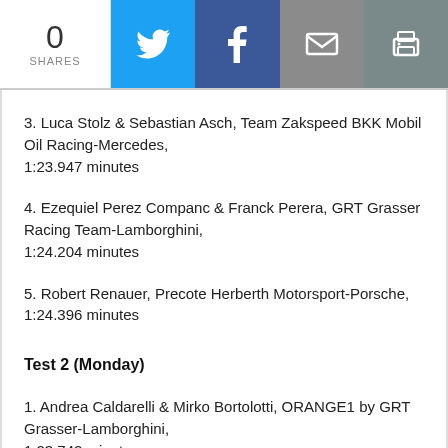0 SHARES
3. Luca Stolz & Sebastian Asch, Team Zakspeed BKK Mobil Oil Racing-Mercedes, 1:23.947 minutes
4. Ezequiel Perez Companc & Franck Perera, GRT Grasser Racing Team-Lamborghini, 1:24.204 minutes
5. Robert Renauer, Precote Herberth Motorsport-Porsche, 1:24.396 minutes
Test 2 (Monday)
1. Andrea Caldarelli & Mirko Bortolotti, ORANGE1 by GRT Grasser-Lamborghini, 1:23.742 minutes
2. Ivan Lukashevich & Nicolaj Møller Madsen & Jake Dennis, Phoenix Racing-Audi, 1:24.095 minutes